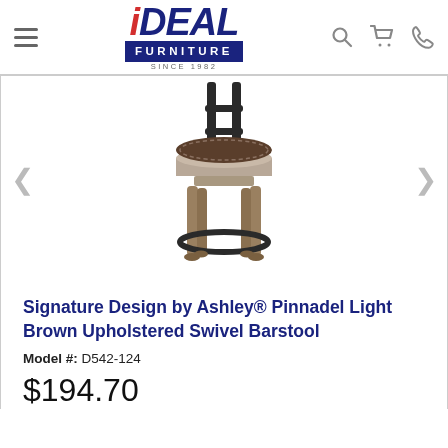[Figure (logo): iDEAL Furniture logo with red italic 'iDEAL' text, blue 'FURNITURE' banner, and 'SINCE 1982' tagline]
[Figure (photo): Signature Design by Ashley Pinnadel Light Brown Upholstered Swivel Barstool product photo on white background]
Signature Design by Ashley® Pinnadel Light Brown Upholstered Swivel Barstool
Model #: D542-124
$194.70